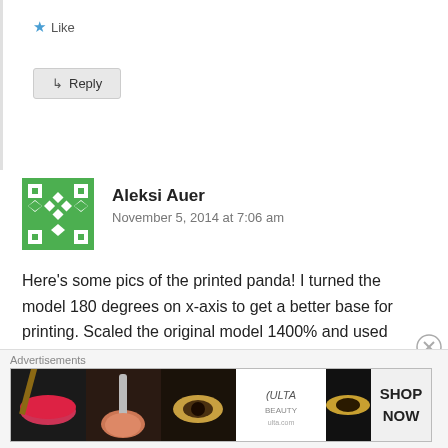[Figure (screenshot): Like button with blue star icon and Reply button with arrow icon]
[Figure (illustration): Green and white geometric avatar for user Aleksi Auer]
Aleksi Auer
November 5, 2014 at 7:06 am
Here’s some pics of the printed panda! I turned the model 180 degrees on x-axis to get a better base for printing. Scaled the original model 1400% and used 0.1mm layer resolution. Took about 4 hours. Even thou the peak of the print got a bad print quality otherwise the print went nicely and the configurations on the shades’ surface you
Advertisements
[Figure (photo): ULTA beauty advertisement banner showing makeup and beauty images with SHOP NOW text]